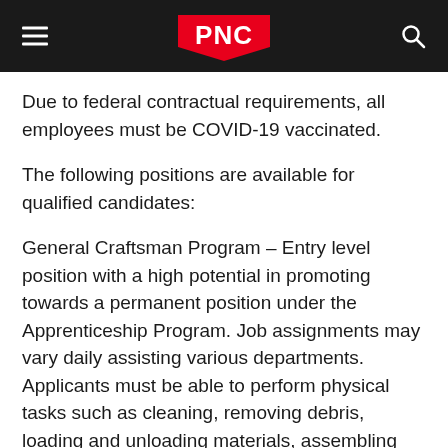PNC
Due to federal contractual requirements, all employees must be COVID-19 vaccinated.
The following positions are available for qualified candidates:
General Craftsman Program – Entry level position with a high potential in promoting towards a permanent position under the Apprenticeship Program. Job assignments may vary daily assisting various departments. Applicants must be able to perform physical tasks such as cleaning, removing debris, loading and unloading materials, assembling and disassembling temporary structures, and assisting skilled craftspeople with their duties.